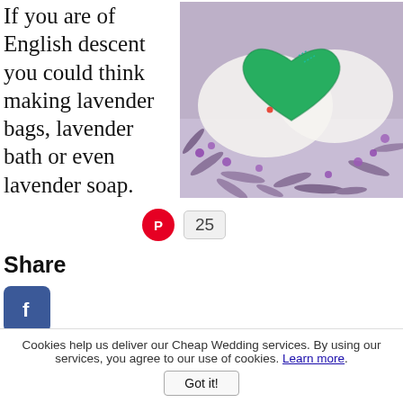[Figure (photo): Green felt heart-shaped sachet on a bed of dried purple lavender flowers]
If you are of English descent you could think making lavender bags, lavender bath or even lavender soap. salts and the lavender bags would be the st to make, and you could package both of in paper cones in your colors.
are of African descent then the Kola nut plays an important part in the wedding traditions
Share
[Figure (infographic): Social share icons: Facebook, Twitter, Pinterest, Tumblr, Reddit, WhatsApp]
25
Cookies help us deliver our Cheap Wedding services. By using our services, you agree to our use of cookies. Learn more.
Got it!